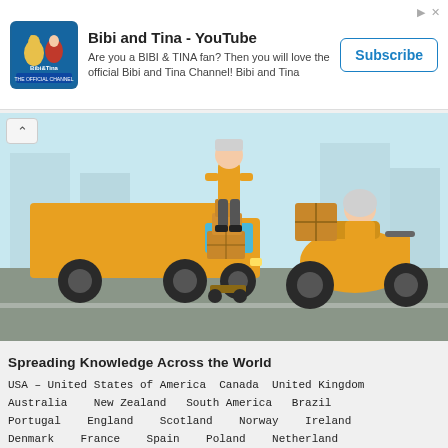[Figure (screenshot): Advertisement banner for Bibi and Tina YouTube channel with logo, description text, and Subscribe button]
[Figure (illustration): Delivery-themed illustration showing a yellow delivery truck, a delivery person with boxes on a cart, and a yellow scooter with a package, on a road with a light blue background]
Spreading Knowledge Across the World
USA – United States of America  Canada  United Kingdom
Australia  New Zealand  South America  Brazil
Portugal  England  Scotland  Norway  Ireland
Denmark  France  Spain  Poland  Netherland
Germany  Sweden  South Africa  Ghana  Tanzania
Nigeria  Kenya  Ethiopia  Zambia  Singapore
Malaysia  India  Pakistan  Nepal  Taiwan
Philippines  ...